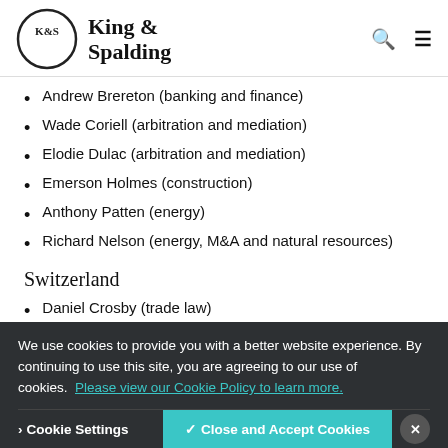King & Spalding
Andrew Brereton (banking and finance)
Wade Coriell (arbitration and mediation)
Elodie Dulac (arbitration and mediation)
Emerson Holmes (construction)
Anthony Patten (energy)
Richard Nelson (energy, M&A and natural resources)
Switzerland
Daniel Crosby (trade law)
We use cookies to provide you with a better website experience. By continuing to use this site, you are agreeing to our use of cookies. Please view our Cookie Policy to learn more.
Cookie Settings | Close and Accept Cookies